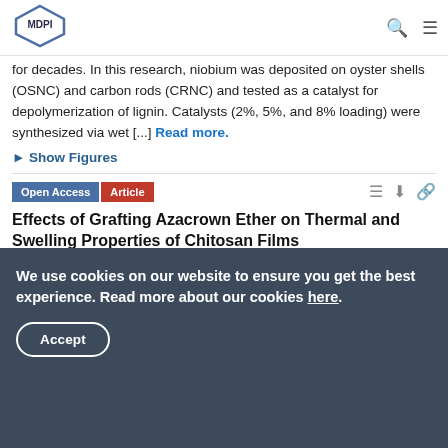[Figure (logo): MDPI logo — hexagonal outline with MDPI text inside]
for decades. In this research, niobium was deposited on oyster shells (OSNC) and carbon rods (CRNC) and tested as a catalyst for depolymerization of lignin. Catalysts (2%, 5%, and 8% loading) were synthesized via wet [...] Read more.
► Show Figures
Open Access  Article
Effects of Grafting Azacrown Ether on Thermal and Swelling Properties of Chitosan Films
by Julius Toeri and Marie-Pierre Laborie
ChemEngineering 2017, 1(2), 16; https://doi.org/10.3390/chemengineering1020016 · 17 Nov 2017
We use cookies on our website to ensure you get the best experience. Read more about our cookies here.
Accept